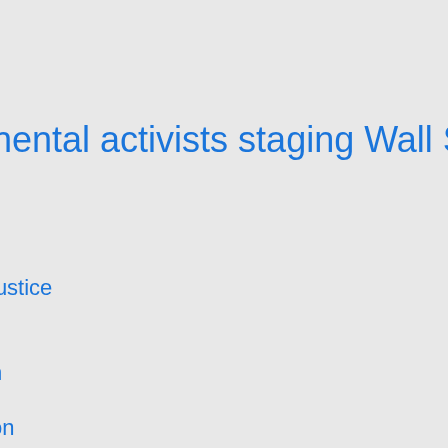nental activists staging Wall Str
justice
n
on